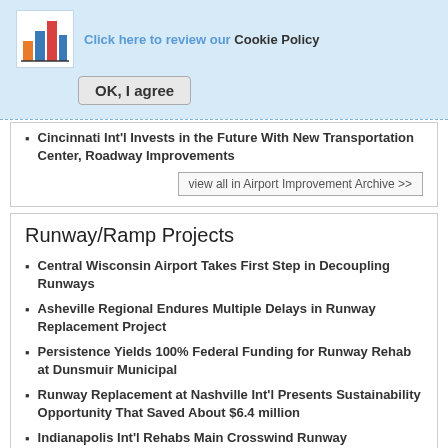[Figure (logo): Colorful bar chart style logo icon]
Click here to review our Cookie Policy
OK, I agree
Cincinnati Int'l Invests in the Future With New Transportation Center, Roadway Improvements
view all in Airport Improvement Archive >>
Runway/Ramp Projects
Central Wisconsin Airport Takes First Step in Decoupling Runways
Asheville Regional Endures Multiple Delays in Runway Replacement Project
Persistence Yields 100% Federal Funding for Runway Rehab at Dunsmuir Municipal
Runway Replacement at Nashville Int'l Presents Sustainability Opportunity That Saved About $6.4 million
Indianapolis Int'l Rehabs Main Crosswind Runway
view all in Airport Improvement Archive >>